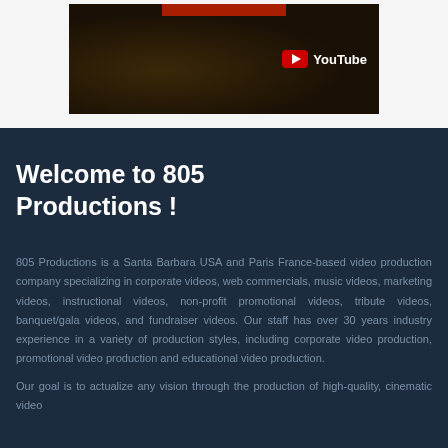[Figure (screenshot): YouTube video thumbnail showing a dark scene with a YouTube play button logo overlay in the upper right area]
Welcome to 805 Productions !
805 Productions is a Santa Barbara USA and Paris France-based video production company specializing in corporate videos, web commercials, music videos, marketing videos, instructional videos, non-profit promotional videos, tribute videos, banquet/gala videos, and fundraiser videos. Our staff has over 30 years industry experience in a variety of production styles, including corporate video production, promotional video production and educational video production. Our goal is to actualize any vision through the production of high-quality, cinematic video